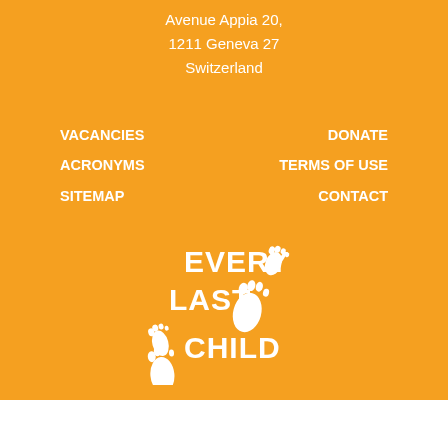Avenue Appia 20,
1211 Geneva 27
Switzerland
VACANCIES
ACRONYMS
SITEMAP
DONATE
TERMS OF USE
CONTACT
[Figure (logo): Every Last Child logo — white text and two footprint icons on orange background]